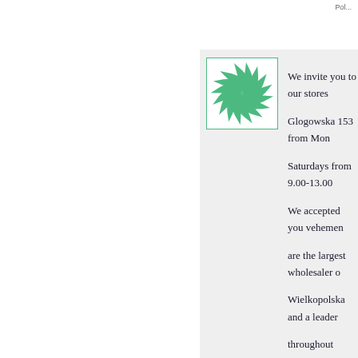Pol...
[Figure (logo): Green spiral/flower logo on white background with green border]
We invite you to our stores Glogowska 153 from Mon... Saturdays from 9.00-13.00 We accepted you vehemently are the largest wholesaler o Wielkopolska and a leader throughout warehouses, sh and mixing paints. For in 2 products known and reput Profi Kompressoren comp semi-automatic welding, w sprezarki newsflash Because we are unambig appurtenances we can offe oneself availability of ord Currently, skilled in the cr